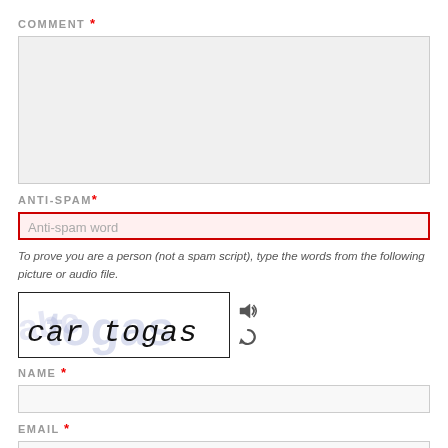COMMENT *
[Figure (other): Comment text area input field (empty, gray background)]
ANTI-SPAM*
[Figure (other): Anti-spam word input field with red border and pink background, placeholder text 'Anti-spam word']
To prove you are a person (not a spam script), type the words from the following picture or audio file.
[Figure (other): CAPTCHA image showing handwritten text 'car togas' with faint blue background text, alongside speaker and refresh icons]
NAME *
[Figure (other): Name input field (empty, light gray background)]
EMAIL *
[Figure (other): Email input field (empty, light gray background)]